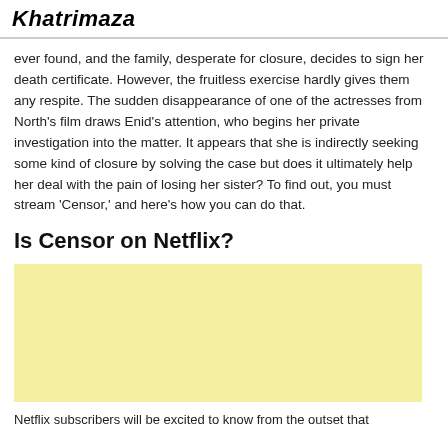Khatrimaza
ever found, and the family, desperate for closure, decides to sign her death certificate. However, the fruitless exercise hardly gives them any respite. The sudden disappearance of one of the actresses from North’s film draws Enid’s attention, who begins her private investigation into the matter. It appears that she is indirectly seeking some kind of closure by solving the case but does it ultimately help her deal with the pain of losing her sister? To find out, you must stream ‘Censor,’ and here’s how you can do that.
Is Censor on Netflix?
[Figure (other): Yellow advertisement placeholder box]
Netflix subscribers will be excited to know from the outset that